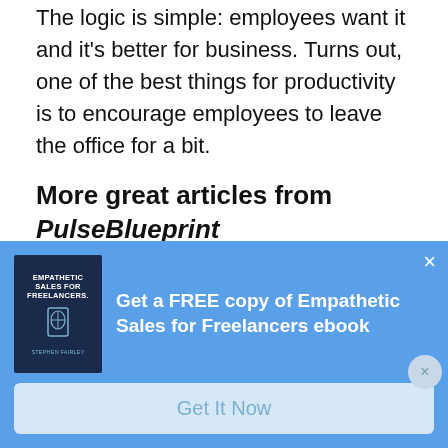The logic is simple: employees want it and it's better for business. Turns out, one of the best things for productivity is to encourage employees to leave the office for a bit.
More great articles from PulseBlueprint
The three kinds of rest every creative person needs
[Figure (other): Popup advertisement banner with book cover image for 'Empathetic Sales for Freelancers' ebook on a blue background, with a 'Get It Now' button and close (×) button.]